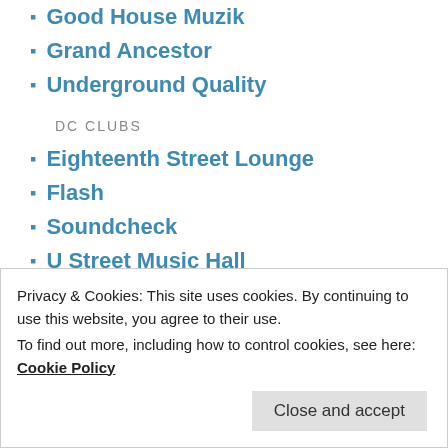Good House Muzik
Grand Ancestor
Underground Quality
DC CLUBS
Eighteenth Street Lounge
Flash
Soundcheck
U Street Music Hall
LOCAL RECORD LABELS
1432R
Better Listen Records
Future Times
Joe's Record Paradise
Privacy & Cookies: This site uses cookies. By continuing to use this website, you agree to their use.
To find out more, including how to control cookies, see here: Cookie Policy